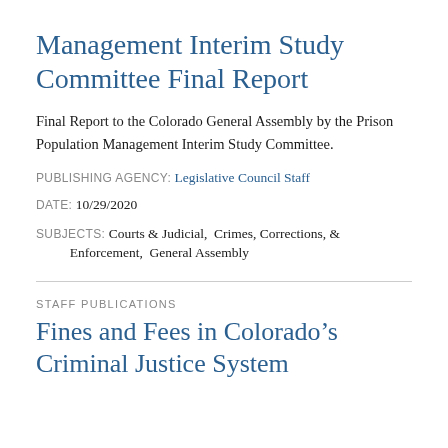Management Interim Study Committee Final Report
Final Report to the Colorado General Assembly by the Prison Population Management Interim Study Committee.
PUBLISHING AGENCY: Legislative Council Staff
DATE: 10/29/2020
SUBJECTS: Courts & Judicial,  Crimes, Corrections, & Enforcement,  General Assembly
STAFF PUBLICATIONS
Fines and Fees in Colorado's Criminal Justice System